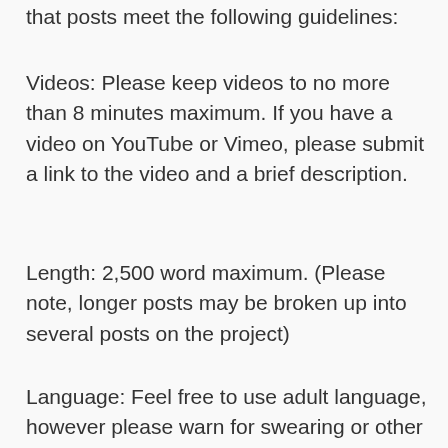that posts meet the following guidelines:
Videos: Please keep videos to no more than 8 minutes maximum. If you have a video on YouTube or Vimeo, please submit a link to the video and a brief description.
Length: 2,500 word maximum. (Please note, longer posts may be broken up into several posts on the project)
Language: Feel free to use adult language, however please warn for swearing or other adult